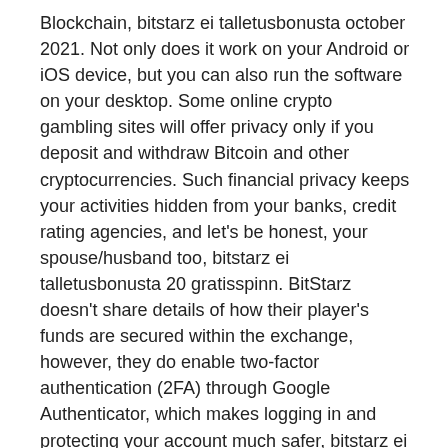Blockchain, bitstarz ei talletusbonusta october 2021. Not only does it work on your Android or iOS device, but you can also run the software on your desktop. Some online crypto gambling sites will offer privacy only if you deposit and withdraw Bitcoin and other cryptocurrencies. Such financial privacy keeps your activities hidden from your banks, credit rating agencies, and let's be honest, your spouse/husband too, bitstarz ei talletusbonusta 20 gratisspinn. BitStarz doesn't share details of how their player's funds are secured within the exchange, however, they do enable two-factor authentication (2FA) through Google Authenticator, which makes logging in and protecting your account much safer, bitstarz ei talletusbonusta codes for existing users. Overall, BitStarz has a good safety track record, with no major security incidents in its history. It can also cost around 5-10% of your profits, with large funds for betting, it...